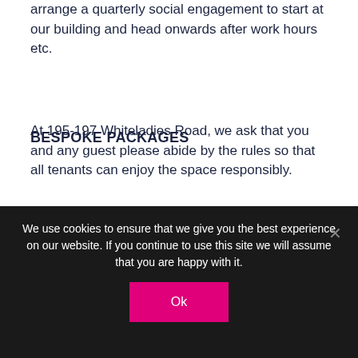arrange a quarterly social engagement to start at our building and head onwards after work hours etc.
BESPOKE PACKAGES
At 195-197 Whiteladies Road, we ask that you and any guest please abide by the rules so that all tenants can enjoy the space responsibly.
Payments
All payments must be received on time or we
We use cookies to ensure that we give you the best experience on our website. If you continue to use this site we will assume that you are happy with it.